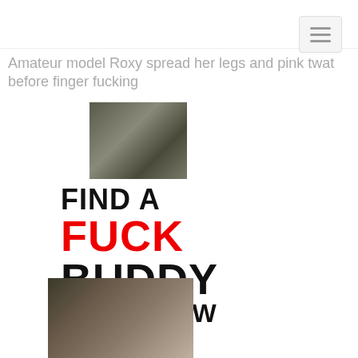[Figure (other): Navigation hamburger menu button in top right corner]
Amateur model Roxy spread her legs and pink twat before finger fucking
[Figure (photo): Small photo of a person on a runway or street]
[Figure (other): Advertisement text: FIND A FUCK BUDDY RIGHT NOW]
[Figure (photo): Photo of a woman posing]